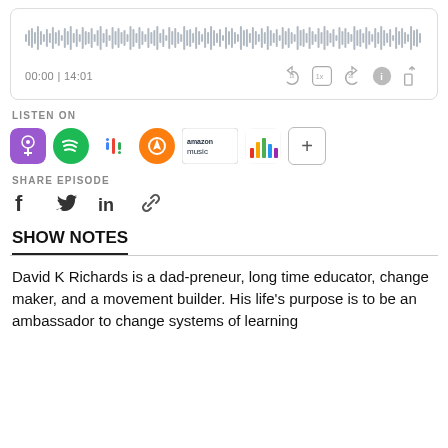[Figure (screenshot): Audio player widget showing waveform, time 00:00 / 14:01, playback controls including rewind 10s, 1x speed, forward 30s, info and share buttons]
LISTEN ON
[Figure (infographic): Podcast platform icons: Apple Podcasts (purple), Spotify (green), Google Podcasts (colorful dots), Overcast (orange tower), Amazon Music (text logo), iHeart Radio (colorful bars), and a plus button]
SHARE EPISODE
[Figure (infographic): Social share icons: Facebook f, Twitter bird, LinkedIn in, chain link]
SHOW NOTES
David K Richards is a dad-preneur, long time educator, change maker, and a movement builder. His life's purpose is to be an ambassador to change systems of learning